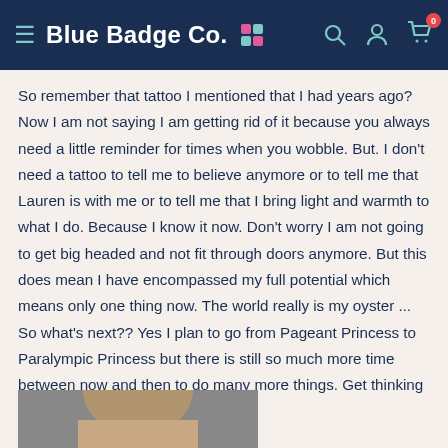Blue Badge Co.
So remember that tattoo I mentioned that I had years ago? Now I am not saying I am getting rid of it because you always need a little reminder for times when you wobble. But. I don't need a tattoo to tell me to believe anymore or to tell me that Lauren is with me or to tell me that I bring light and warmth to what I do. Because I know it now. Don't worry I am not going to get big headed and not fit through doors anymore. But this does mean I have encompassed my full potential which means only one thing now. The world really is my oyster ... So what's next?? Yes I plan to go from Pageant Princess to Paralympic Princess but there is still so much more time between now and then to do many more things. Get thinking Chloe ... What's next?!
[Figure (photo): Partial photo of a person at the bottom of the page]